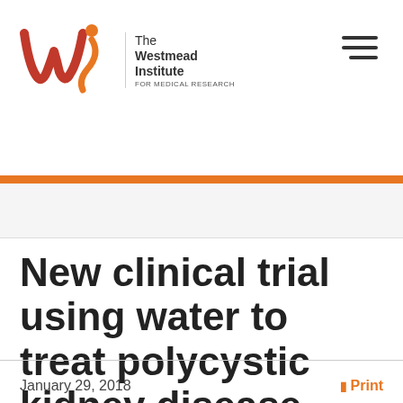[Figure (logo): The Westmead Institute for Medical Research logo — stylized 'wi' letters in red and orange on the left, with institute name text to the right]
New clinical trial using water to treat polycystic kidney disease
January 29, 2018
Print